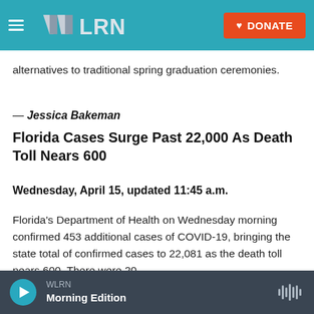[Figure (screenshot): WLRN website navigation bar with hamburger menu, WLRN logo, and orange DONATE button on teal background]
alternatives to traditional spring graduation ceremonies.
— Jessica Bakeman
Florida Cases Surge Past 22,000 As Death Toll Nears 600
Wednesday, April 15, updated 11:45 a.m.
Florida's Department of Health on Wednesday morning confirmed 453 additional cases of COVID-19, bringing the state total of confirmed cases to 22,081 as the death toll nears 600. There were 20
WLRN
Morning Edition